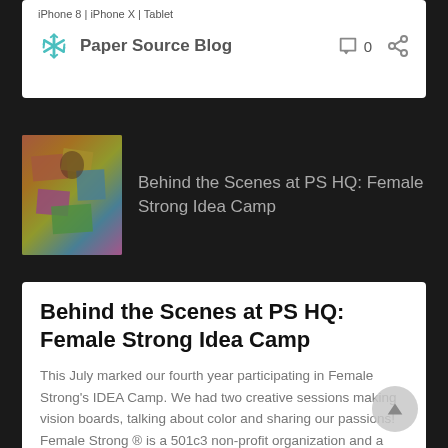iPhone 8 | iPhone X | Tablet
Paper Source Blog
[Figure (screenshot): Preview thumbnail of blog post showing people working on colorful vision boards]
Behind the Scenes at PS HQ: Female Strong Idea Camp
Behind the Scenes at PS HQ: Female Strong Idea Camp
This July marked our fourth year participating in Female Strong's IDEA Camp. We had two creative sessions making vision boards, talking about color and sharing our passions! Female Strong ® is a 501c3 non-profit organization and a community of committed individuals that offer hands-on programs, mentorship, and experiences that build confidence in middle and high